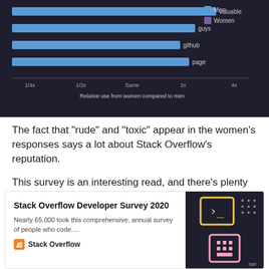[Figure (bar-chart): Relative use from women compared to men]
The fact that "rude" and "toxic" appear in the women's responses says a lot about Stack Overflow's reputation.
This survey is an interesting read, and there's plenty more to see that I didn't include here. You can check out the full results over on Stack Overflow's website:
[Figure (screenshot): Card preview of Stack Overflow Developer Survey 2020. Text: 'Nearly 65,000 took this comprehensive, annual survey of people who code...'. Shows Stack Overflow logo and a dark background image with terminal and code icons.]